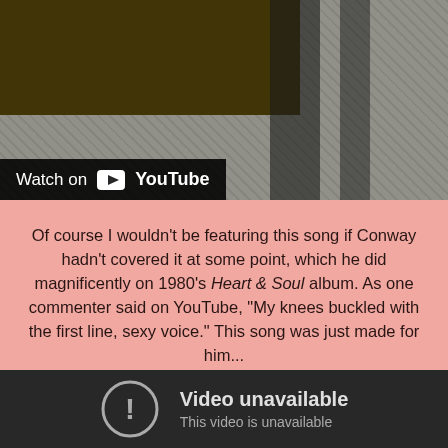[Figure (screenshot): Top portion of a YouTube video embed showing a partially visible outdoor scene with a person's legs on a rocky surface, with a dark olive/brown area in the upper left. A 'Watch on YouTube' bar appears at the bottom of the image area.]
Of course I wouldn't be featuring this song if Conway hadn't covered it at some point, which he did magnificently on 1980's Heart & Soul album. As one commenter said on YouTube, "My knees buckled with the first line, sexy voice." This song was just made for him...
[Figure (screenshot): A YouTube video player showing an error state with a circular exclamation mark icon and the text 'Video unavailable' and 'This video is unavailable' on a dark background.]